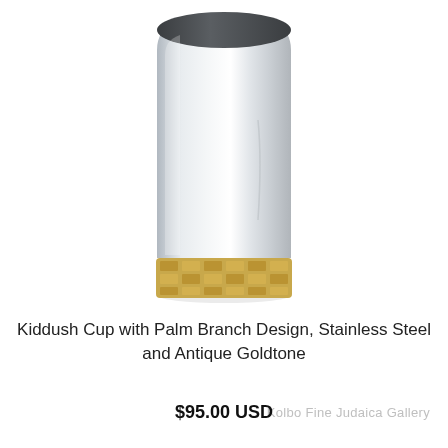[Figure (photo): A stainless steel Kiddush cup with a polished silver body and a woven antique goldtone palm branch design band around the base, photographed on a white background.]
Kolbo Fine Judaica Gallery
Kiddush Cup with Palm Branch Design, Stainless Steel and Antique Goldtone
$95.00 USD